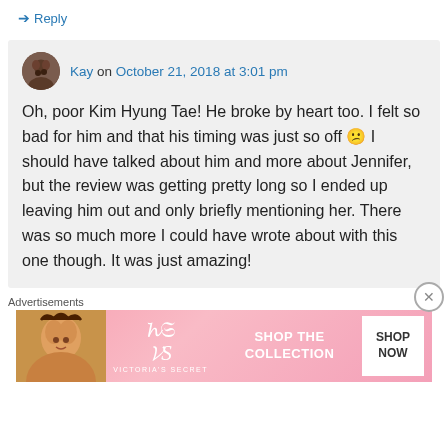↳ Reply
Kay on October 21, 2018 at 3:01 pm
Oh, poor Kim Hyung Tae! He broke by heart too. I felt so bad for him and that his timing was just so off 😕 I should have talked about him and more about Jennifer, but the review was getting pretty long so I ended up leaving him out and only briefly mentioning her. There was so much more I could have wrote about with this one though. It was just amazing!
Advertisements
[Figure (infographic): Victoria's Secret advertisement banner showing a woman's face on the left, VS logo and brand name in the center, 'SHOP THE COLLECTION' text, and a 'SHOP NOW' white button on the right, pink background.]